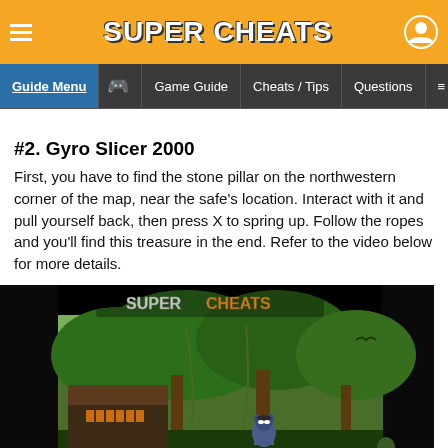Super Cheats — navigation header with Guide Menu, Game Guide, Cheats / Tips, Questions, More
#2. Gyro Slicer 2000
First, you have to find the stone pillar on the northwestern corner of the map, near the safe's location. Interact with it and pull yourself back, then press X to spring up. Follow the ropes and you'll find this treasure in the end. Refer to the video below for more details.
[Figure (screenshot): Super Cheats watermarked gameplay screenshot showing a jungle/forest level from what appears to be a Sly Cooper game, with a racoon character visible in the foreground and lush green environment in the background.]